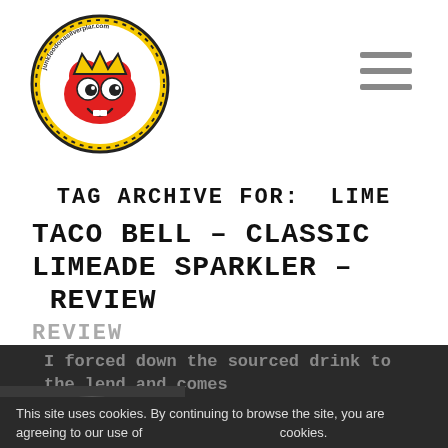[Figure (logo): Circular logo with red heart wearing crown, googly eyes, yellow circle border with text 'junk food on a silver platter']
TAG ARCHIVE FOR: LIME
TACO BELL – CLASSIC LIMEADE SPARKLER – REVIEW
REVIEW
I forced down the sourced drink to the lend and comes out plum puckered.
This site uses cookies. By continuing to browse the site, you are agreeing to our use of cookies.
Ok
read my review of